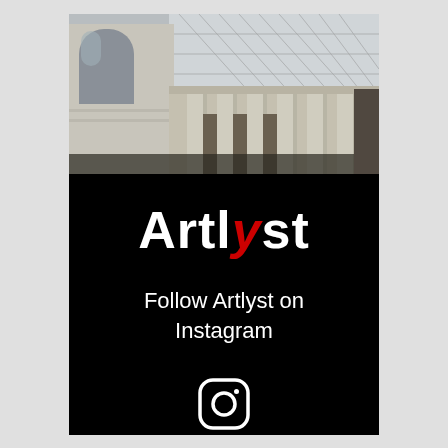[Figure (photo): Interior photo of a museum (likely British Museum) showing classical stone columns, arched windows, and a large glass-and-steel roof structure overhead, viewed from a low angle.]
Artlyst
Follow Artlyst on Instagram
[Figure (illustration): Instagram logo icon in white outline on black background.]